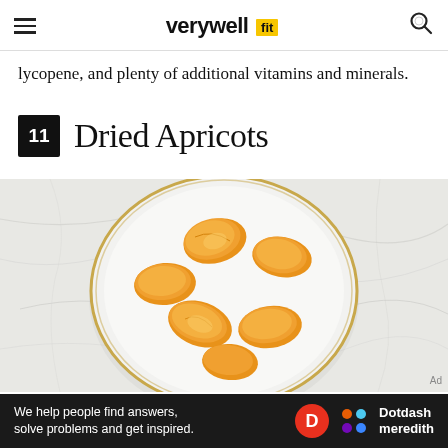verywell fit
lycopene, and plenty of additional vitamins and minerals.
11 Dried Apricots
[Figure (photo): Overhead photo of dried apricots arranged in a white bowl with gold rim, on a marble surface.]
Ad
We help people find answers, solve problems and get inspired. Dotdash meredith